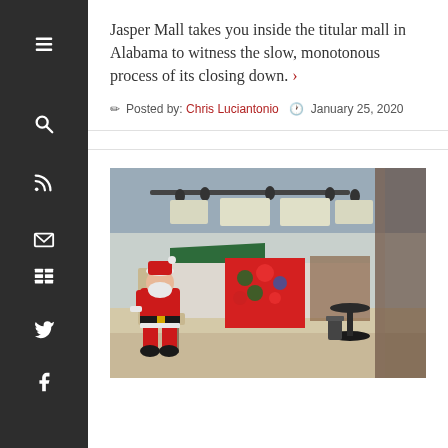Jasper Mall takes you inside the titular mall in Alabama to witness the slow, monotonous process of its closing down.
Posted by: Chris Luciantonio   January 25, 2020
[Figure (photo): Santa Claus sitting alone in a chair in a nearly empty mall interior with colorful fabric displays in the background and track lighting on the ceiling.]